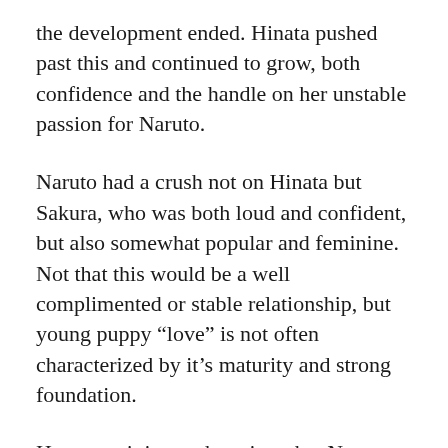the development ended. Hinata pushed past this and continued to grow, both confidence and the handle on her unstable passion for Naruto.
Naruto had a crush not on Hinata but Sakura, who was both loud and confident, but also somewhat popular and feminine. Not that this would be a well complimented or stable relationship, but young puppy “love” is not often characterized by it’s maturity and strong foundation.
However, it is worth noting, that Naruto became very impressed with Hinata’s development and strength and ability to push past her self imposed limitations and anxieties. So not only does he mesh with her personality, but when Hinata had